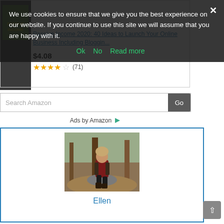We use cookies to ensure that we give you the best experience on our website. If you continue to use this site we will assume that you are happy with it.
Ok   No   Read more
Passive Income 2020: 40 Ideas to Launch Your Online Business Including Bloggin...
$4.08
★★★★☆ (71)
Search Amazon
Ads by Amazon
[Figure (photo): Photo of a woman named Ellen sitting outdoors on rocks in a wooded setting, wearing dark clothing and boots.]
Ellen